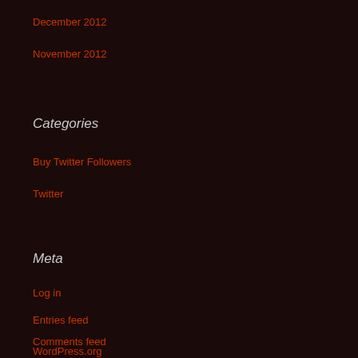December 2012
November 2012
Categories
Buy Twitter Followers
Twitter
Meta
Log in
Entries feed
Comments feed
WordPress.org